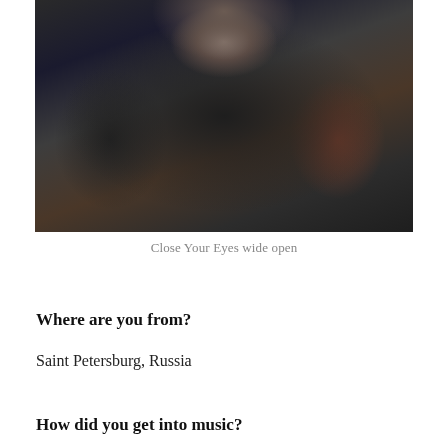[Figure (photo): Close-up photo of a person in a dark hoodie, lower face visible with lips showing, wearing a dark graphic t-shirt, dark moody lighting]
Close Your Eyes wide open
Where are you from?
Saint Petersburg, Russia
How did you get into music?